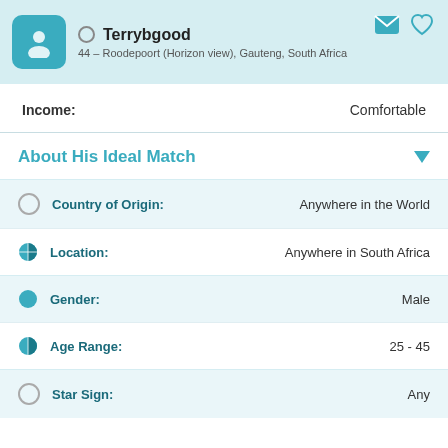Terrybgood
44 – Roodepoort (Horizon view), Gauteng, South Africa
Income: Comfortable
About His Ideal Match
Country of Origin: Anywhere in the World
Location: Anywhere in South Africa
Gender: Male
Age Range: 25 - 45
Star Sign: Any